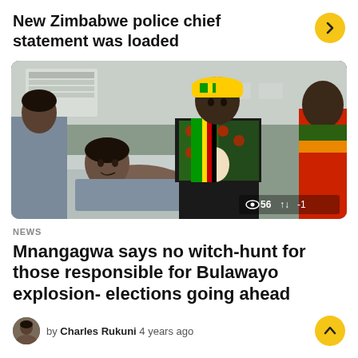New Zimbabwe police chief statement was loaded
[Figure (photo): A person in a yellow cap and colorful Zimbabwe-patterned jacket and scarf visits a woman lying in a hospital bed, with two other people present in the room. View count: 56, score: -1]
NEWS
Mnangagwa says no witch-hunt for those responsible for Bulawayo explosion- elections going ahead
by Charles Rukuni 4 years ago